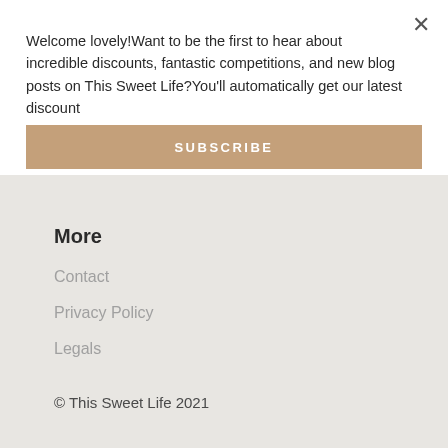Welcome lovely!Want to be the first to hear about incredible discounts, fantastic competitions, and new blog posts on This Sweet Life?You'll automatically get our latest discount
SUBSCRIBE
More
Contact
Privacy Policy
Legals
© This Sweet Life 2021